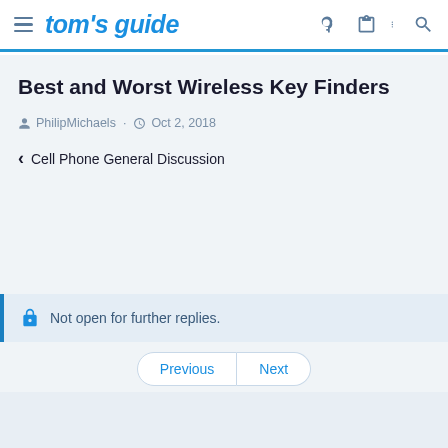tom's guide
Best and Worst Wireless Key Finders
PhilipMichaels · Oct 2, 2018
< Cell Phone General Discussion
Not open for further replies.
Previous | Next